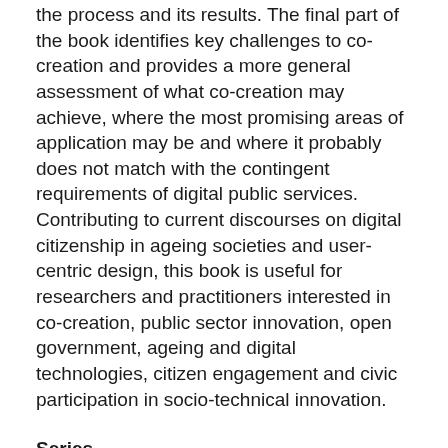the process and its results. The final part of the book identifies key challenges to co-creation and provides a more general assessment of what co-creation may achieve, where the most promising areas of application may be and where it probably does not match with the contingent requirements of digital public services. Contributing to current discourses on digital citizenship in ageing societies and user-centric design, this book is useful for researchers and practitioners interested in co-creation, public sector innovation, open government, ageing and digital technologies, citizen engagement and civic participation in socio-technical innovation.
Series
Public Administration and Information Technology
Publisher
Springer International Publishing